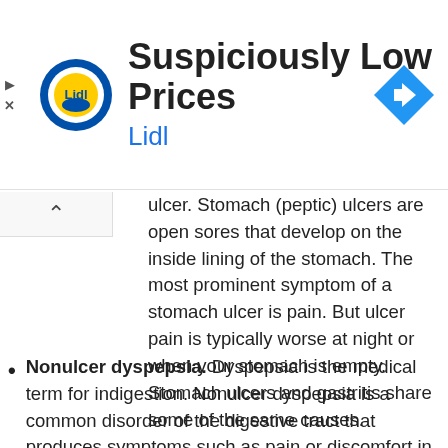[Figure (logo): Lidl advertisement banner with Lidl logo, title 'Suspiciously Low Prices', and navigation icon]
ulcer. Stomach (peptic) ulcers are open sores that develop on the inside lining of the stomach. The most prominent symptom of a stomach ulcer is pain. But ulcer pain is typically worse at night or when your stomach is empty. Stomach ulcers and gastritis share some of the same causes.
Nonulcer dyspepsia. Dyspepsia is the medical term for indigestion. Nonulcer dyspepsia is a common disorder of the digestive tract that produces symptoms such as pain or discomfort in the upper abdomen similar to that caused by an ulcer, but tests show that you don't have an ulcer. Inflammation of the stomach and nonulcer dyspepsia have similar symptoms but different causes. Nonulcer dyspepsia, which is common, often results simply from stress or your diet, eating foods that are upsetting to your stomach, such